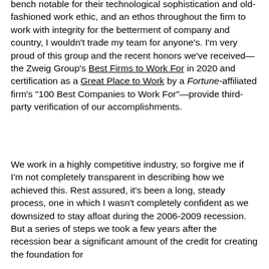bench notable for their technological sophistication and old-fashioned work ethic, and an ethos throughout the firm to work with integrity for the betterment of company and country, I wouldn't trade my team for anyone's. I'm very proud of this group and the recent honors we've received—the Zweig Group's Best Firms to Work For in 2020 and certification as a Great Place to Work by a Fortune-affiliated firm's "100 Best Companies to Work For"—provide third-party verification of our accomplishments.
We work in a highly competitive industry, so forgive me if I'm not completely transparent in describing how we achieved this. Rest assured, it's been a long, steady process, one in which I wasn't completely confident as we downsized to stay afloat during the 2006-2009 recession. But a series of steps we took a few years after the recession bear a significant amount of the credit for creating the foundation for